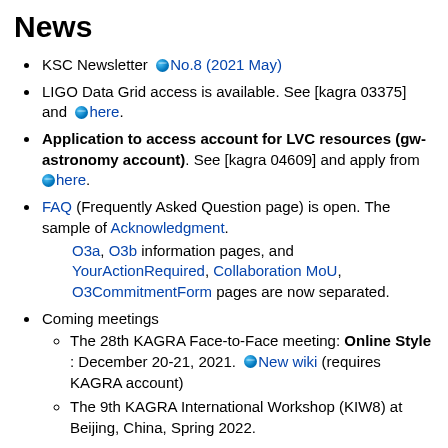News
KSC Newsletter  No.8 (2021 May)
LIGO Data Grid access is available. See [kagra 03375] and  here.
Application to access account for LVC resources (gw-astronomy account). See [kagra 04609] and apply from  here.
FAQ (Frequently Asked Question page) is open. The sample of Acknowledgment. O3a, O3b information pages, and YourActionRequired, Collaboration MoU, O3CommitmentForm pages are now separated.
Coming meetings
The 28th KAGRA Face-to-Face meeting: Online Style : December 20-21, 2021.  New wiki (requires KAGRA account)
The 9th KAGRA International Workshop (KIW8) at Beijing, China, Spring 2022.
Past meetings
The 26th KAGRA Face-to-Face meeting: